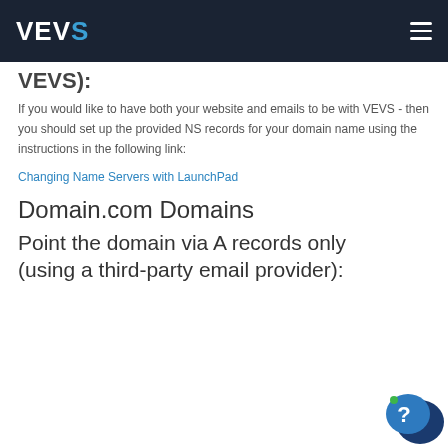VEVS
VEVS):
If you would like to have both your website and emails to be with VEVS - then you should set up the provided NS records for your domain name using the instructions in the following link:
Changing Name Servers with LaunchPad
Domain.com Domains
Point the domain via A records only (using a third-party email provider):
[Figure (illustration): Blue chat bubble with question mark icon in the bottom right corner]